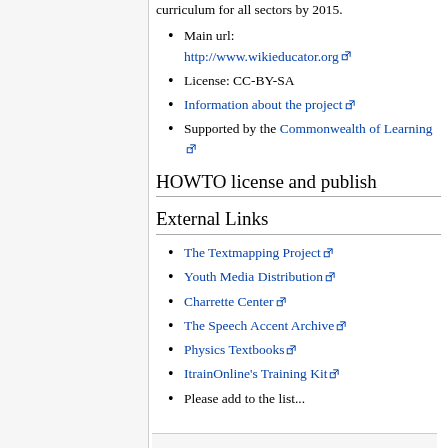curriculum for all sectors by 2015.
Main url: http://www.wikieducator.org
License: CC-BY-SA
Information about the project
Supported by the Commonwealth of Learning
HOWTO license and publish
External Links
The Textmapping Project
Youth Media Distribution
Charrette Center
The Speech Accent Archive
Physics Textbooks
ItrainOnline's Training Kit
Please add to the list...